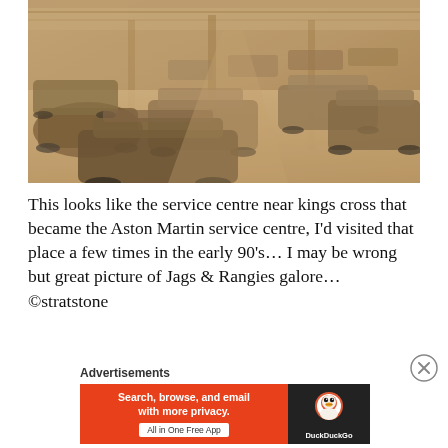[Figure (photo): Sepia-toned aerial view of a large automotive service centre interior filled with numerous classic cars including Jaguars and Range Rovers, taken from an elevated angle showing rows of vehicles on a large workshop floor.]
This looks like the service centre near kings cross that became the Aston Martin service centre, I’d visited that place a few times in the early 90’s… I may be wrong but great picture of Jags & Rangies galore… ©stratstone
Advertisements
[Figure (infographic): DuckDuckGo advertisement banner: orange background with text 'Search, browse, and email with more privacy. All in One Free App' and DuckDuckGo logo on dark right panel.]